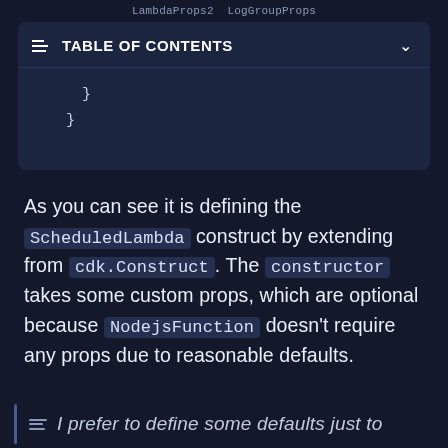LambdaProps2  LogGroupProps
[Figure (screenshot): TABLE OF CONTENTS panel (dark blue, with hamburger icon and chevron) containing code snippet with closing braces: } and }]
As you can see it is defining the ScheduledLambda construct by extending from cdk.Construct. The constructor takes some custom props, which are optional because NodejsFunction doesn't require any props due to reasonable defaults.
I prefer to define some defaults just to